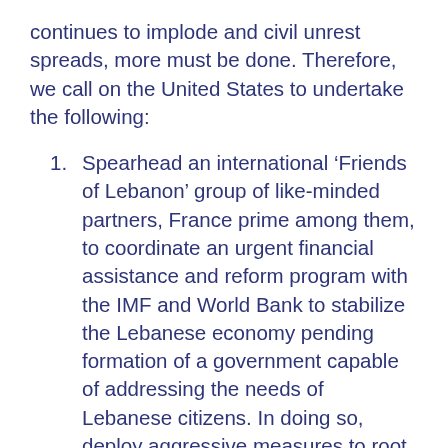continues to implode and civil unrest spreads, more must be done. Therefore, we call on the United States to undertake the following:
Spearhead an international ‘Friends of Lebanon’ group of like-minded partners, France prime among them, to coordinate an urgent financial assistance and reform program with the IMF and World Bank to stabilize the Lebanese economy pending formation of a government capable of addressing the needs of Lebanese citizens. In doing so, deploy aggressive measures to root out corruption and reform dysfunctional government ministries, in addition to conducting the long-delayed comprehensive Central Bank audit.